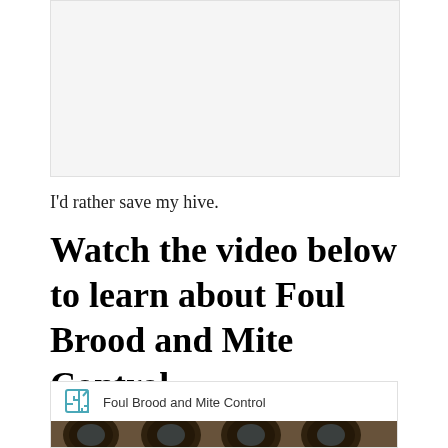[Figure (photo): Light gray placeholder image area at the top of the page]
I'd rather save my hive.
Watch the video below to learn about Foul Brood and Mite Control
[Figure (screenshot): Embedded video link box with external link icon and label 'Foul Brood and Mite Control', followed by a photo thumbnail of dark honeycomb cells with bee larvae]